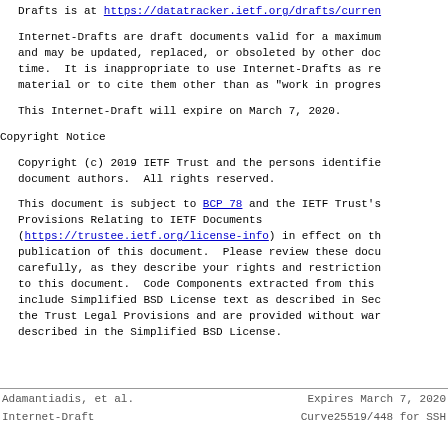Drafts is at https://datatracker.ietf.org/drafts/curren
Internet-Drafts are draft documents valid for a maximum and may be updated, replaced, or obsoleted by other doc time.  It is inappropriate to use Internet-Drafts as re material or to cite them other than as "work in progres
This Internet-Draft will expire on March 7, 2020.
Copyright Notice
Copyright (c) 2019 IETF Trust and the persons identifie document authors.  All rights reserved.
This document is subject to BCP 78 and the IETF Trust's Provisions Relating to IETF Documents (https://trustee.ietf.org/license-info) in effect on th publication of this document.  Please review these docu carefully, as they describe your rights and restriction to this document.  Code Components extracted from this include Simplified BSD License text as described in Sec the Trust Legal Provisions and are provided without war described in the Simplified BSD License.
Adamantiadis, et al.    Expires March 7, 2020
Internet-Draft              Curve25519/448 for SSH